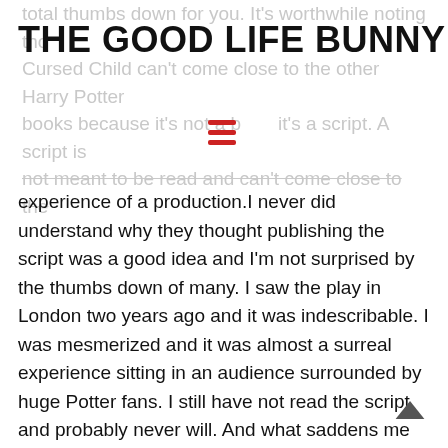THE GOOD LIFE BUNNY
total thumbs down for you. It's worthwhile noting that Cursed Child can't come close to the other Harry Potter books because it's not a book, it's a script. A script is not meant to be read and can't come close to the experience of a production.I never did understand why they thought publishing the script was a good idea and I'm not surprised by the thumbs down of many. I saw the play in London two years ago and it was indescribable. I was mesmerized and it was almost a surreal experience sitting in an audience surrounded by huge Potter fans. I still have not read the script and probably never will. And what saddens me most is that those who gave a thumbs down to the script might not think to actually experience the next chapter of Harry Potter as it was meant to be experienced.
See it whenever you get the change :))